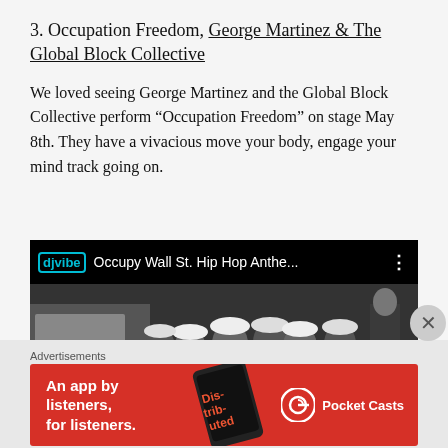3. Occupation Freedom, George Martinez & The Global Block Collective
We loved seeing George Martinez and the Global Block Collective perform “Occupation Freedom” on stage May 8th. They have a vivacious move your body, engage your mind track going on.
[Figure (screenshot): Embedded video player showing 'Occupy Wall St. Hip Hop Anthe...' with a black and white photo of people in hard hats, labeled with djvibe logo]
Advertisements
[Figure (photo): Advertisement banner: 'An app by listeners, for listeners.' - Pocket Casts app ad with red background]